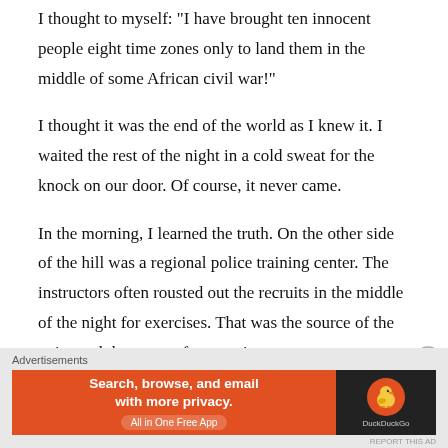I thought to myself: "I have brought ten innocent people eight time zones only to land them in the middle of some African civil war!"
I thought it was the end of the world as I knew it. I waited the rest of the night in a cold sweat for the knock on our door. Of course, it never came.
In the morning, I learned the truth. On the other side of the hill was a regional police training center. The instructors often rousted out the recruits in the middle of the night for exercises. That was the source of the noise and the cause of my panic.
[Figure (other): DuckDuckGo advertisement banner: orange left side with text 'Search, browse, and email with more privacy. All in One Free App', dark right side with DuckDuckGo duck logo and brand name. Labeled 'Advertisements' above.]